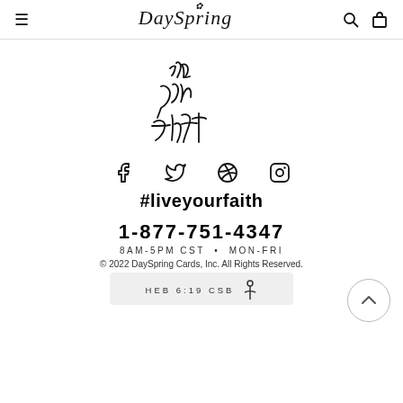DaySpring
[Figure (illustration): Handwritten script text reading 'live your faith' in cursive black ink on white background]
[Figure (infographic): Social media icons: Facebook, Twitter, Pinterest, Instagram]
#liveyourfaith
1-877-751-4347
8AM-5PM CST • MON-FRI
© 2022 DaySpring Cards, Inc. All Rights Reserved.
HEB 6:19 CSB